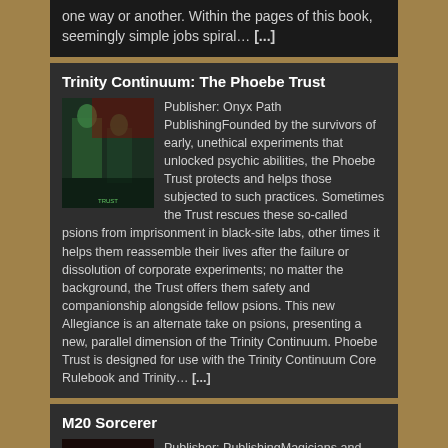one way or another. Within the pages of this book, seemingly simple jobs spiral… [...]
Trinity Continuum: The Phoebe Trust
[Figure (illustration): Book cover image for Trinity Continuum: The Phoebe Trust showing sci-fi scene with green figures]
Publisher: Onyx Path PublishingFounded by the survivors of early, unethical experiments that unlocked psychic abilities, the Phoebe Trust protects and helps those subjected to such practices. Sometimes the Trust rescues these so-called psions from imprisonment in black-site labs, other times it helps them reassemble their lives after the failure or dissolution of corporate experiments; no matter the background, the Trust offers them safety and companionship alongside fellow psions. This new Allegiance is an alternate take on psions, presenting a new, parallel dimension of the Trinity Continuum. Phoebe Trust is designed for use with the Trinity Continuum Core Rulebook and Trinity… [...]
M20 Sorcerer
[Figure (illustration): Book cover image for M20 Sorcerer showing dark fantasy art]
Publisher: PublishingMagicians and Mentalists The Shadows of the World of